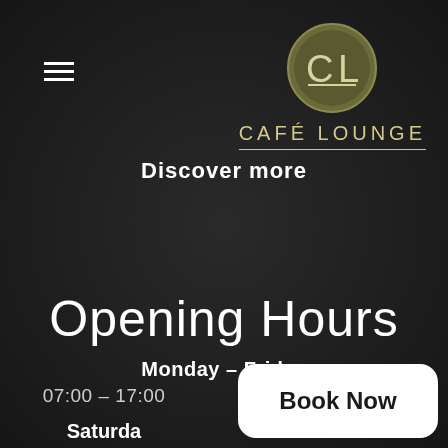[Figure (logo): Café Lounge circular logo with 'CL' monogram in olive/gold color, with brand name CAFÉ LOUNGE below and decorative underline]
≡
Discover more
Opening Hours
Monday – Friday
07:00 – 17:00
Saturday
Book Now